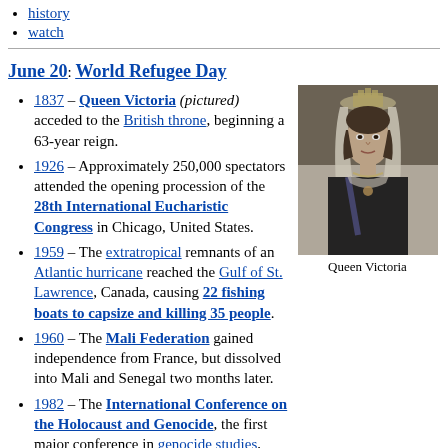history
watch
June 20: World Refugee Day
1837 – Queen Victoria (pictured) acceded to the British throne, beginning a 63-year reign.
1926 – Approximately 250,000 spectators attended the opening procession of the 28th International Eucharistic Congress in Chicago, United States.
1959 – The extratropical remnants of an Atlantic hurricane reached the Gulf of St. Lawrence, Canada, causing 22 fishing boats to capsize and killing 35 people.
1960 – The Mali Federation gained independence from France, but dissolved into Mali and Senegal two months later.
1982 – The International Conference on the Holocaust and Genocide, the first major conference in genocide studies, opened despite Turkish attempts to cancel it due to the inclusion of presentations on the Armenian genocide.
[Figure (photo): Black and white photograph of Queen Victoria in formal attire with crown and veil]
Queen Victoria